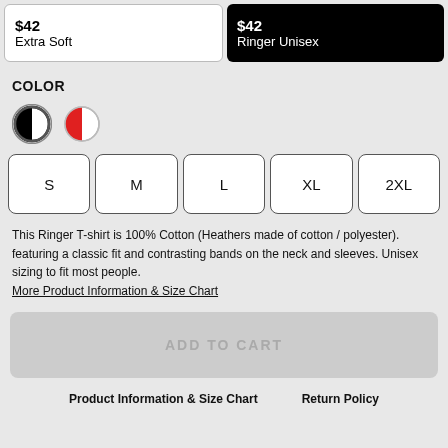$42 Extra Soft
$42 Ringer Unisex
COLOR
[Figure (illustration): Two circular color swatches: first is black/white split circle with border, second is red/white split circle]
S
M
L
XL
2XL
This Ringer T-shirt is 100% Cotton (Heathers made of cotton / polyester). featuring a classic fit and contrasting bands on the neck and sleeves. Unisex sizing to fit most people.
More Product Information & Size Chart
ADD TO CART
Product Information & Size Chart
Return Policy